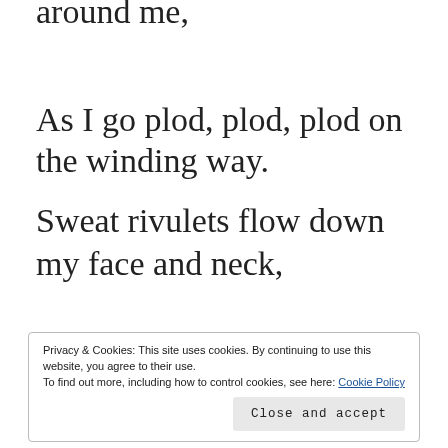around me,
As I go plod, plod, plod on the winding way.
Sweat rivulets flow down my face and neck,
The gentle breeze brings some joyous respite.
Privacy & Cookies: This site uses cookies. By continuing to use this website, you agree to their use.
To find out more, including how to control cookies, see here: Cookie Policy
Close and accept